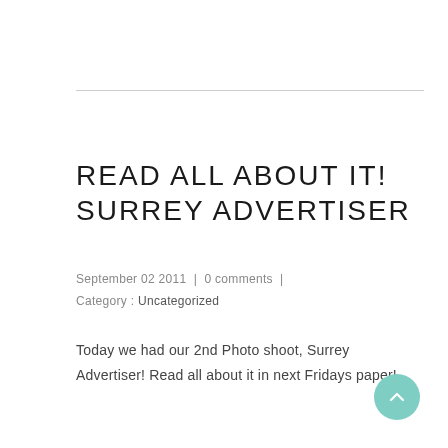READ ALL ABOUT IT! SURREY ADVERTISER
September 02 2011  |  0 comments  |  Category : Uncategorized
Today we had our 2nd Photo shoot, Surrey Advertiser! Read all about it in next Fridays paper!